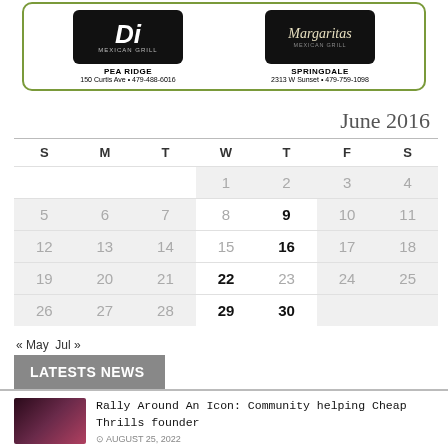[Figure (advertisement): Advertisement for two Mexican Grill locations: Pea Ridge at 150 Curtis Ave 479-488-6016 and Springdale at 2313 W Sunset 479-759-1098]
June 2016
| S | M | T | W | T | F | S |
| --- | --- | --- | --- | --- | --- | --- |
|  |  |  | 1 | 2 | 3 | 4 |
| 5 | 6 | 7 | 8 | 9 | 10 | 11 |
| 12 | 13 | 14 | 15 | 16 | 17 | 18 |
| 19 | 20 | 21 | 22 | 23 | 24 | 25 |
| 26 | 27 | 28 | 29 | 30 |  |  |
« May  Jul »
LATESTS NEWS
Rally Around An Icon: Community helping Cheap Thrills founder